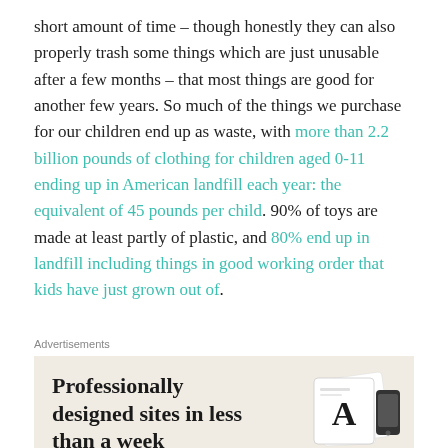short amount of time – though honestly they can also properly trash some things which are just unusable after a few months – that most things are good for another few years. So much of the things we purchase for our children end up as waste, with more than 2.2 billion pounds of clothing for children aged 0-11 ending up in American landfill each year: the equivalent of 45 pounds per child. 90% of toys are made at least partly of plastic, and 80% end up in landfill including things in good working order that kids have just grown out of.
Advertisements
[Figure (other): Advertisement banner with text 'Professionally designed sites in less than a week' on a beige/cream background with graphic design elements and a letter A visible on the right side]